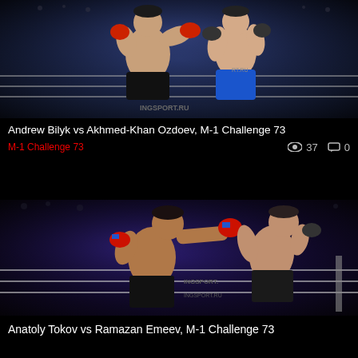[Figure (photo): Two MMA fighters in a boxing ring with blue lighting, both shirtless, one wearing blue shorts. INGSPORT.RU branding visible on ring mats.]
Andrew Bilyk vs Akhmed-Khan Ozdoev, M-1 Challenge 73
M-1 Challenge 73
37
0
[Figure (photo): Two shirtless MMA fighters exchanging punches in a boxing ring. Left fighter throwing a right hook. INGSPORT and INGSPORT.RU visible on ring mat. Blue ambient lighting.]
Anatoly Tokov vs Ramazan Emeev, M-1 Challenge 73